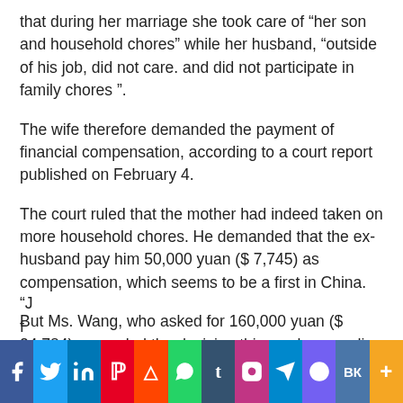that during her marriage she took care of “her son and household chores” while her husband, “outside of his job, did not care. and did not participate in family chores ”.
The wife therefore demanded the payment of financial compensation, according to a court report published on February 4.
The court ruled that the mother had indeed taken on more household chores. He demanded that the ex-husband pay him 50,000 yuan ($ 7,745) as compensation, which seems to be a first in China.
But Ms. Wang, who asked for 160,000 yuan ($ 24,784), appealed the decision this week, according to local media. An initiative that sparked a heated debate on the social network Weibo.
“J… f…
[Figure (other): Social media sharing bar with icons for Facebook, Twitter, LinkedIn, Pinterest, Reddit, WhatsApp, Tumblr, Instagram, Telegram, Viber, VK, and a plus/more button]